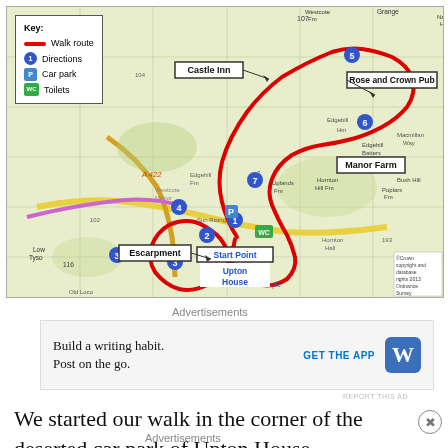[Figure (map): OS map showing a walk route near Upton House with numbered direction markers, car park, toilets, and landmarks including Castle Inn, Rose and Crown Pub, Manor Farm, and Escarpment. A red line shows the walk route with numbered waypoints 1-7.]
Advertisements
[Figure (infographic): Advertisement: Build a writing habit. Post on the go. GET THE APP [WordPress logo]]
REPORT THIS AD
We started our walk in the corner of the deserted car park of Upton House.
Advertisements